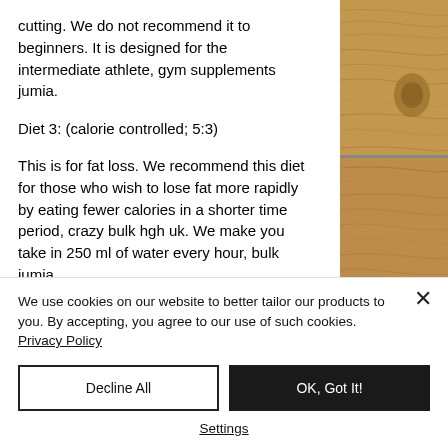cutting. We do not recommend it to beginners. It is designed for the intermediate athlete, gym supplements jumia.
Diet 3: (calorie controlled; 5:3)
This is for fat loss. We recommend this diet for those who wish to lose fat more rapidly by eating fewer calories in a shorter time period, crazy bulk hgh uk. We make you take in 250 ml of water every hour, bulk jumia
[Figure (photo): Wood texture/grain background image on the right side of the page]
We use cookies on our website to better tailor our products to you. By accepting, you agree to our use of such cookies. Privacy Policy
Decline All
OK, Got It!
Settings